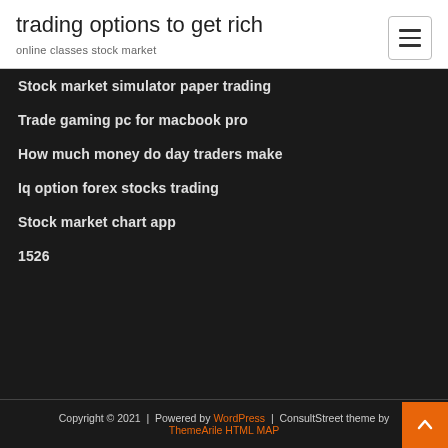trading options to get rich
online classes stock market
Stock market simulator paper trading
Trade gaming pc for macbook pro
How much money do day traders make
Iq option forex stocks trading
Stock market chart app
1526
Copyright © 2021 | Powered by WordPress | ConsultStreet theme by ThemeArile HTML MAP